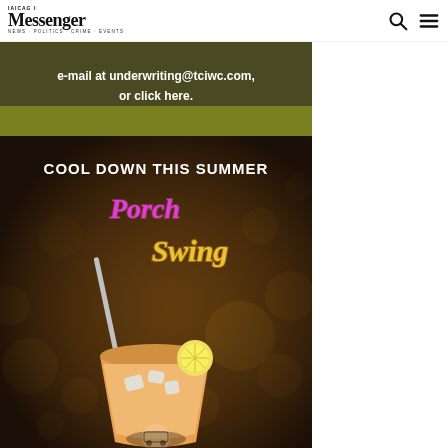Messenger
[Figure (photo): Advertisement banner showing text 'e-mail at underwriting@tciwc.com, or click here.' on dark olive/khaki background]
[Figure (photo): Advertisement for 'Porch Swing' summer drink. Text reads 'COOL DOWN THIS SUMMER' in white bold letters, 'Porch' in pink neon script, 'Swing' in yellow/gold neon script. Background shows bokeh bar lights. Foreground shows an orange/pink drink in a cup with ice, a lemon slice, and a metal straw.]